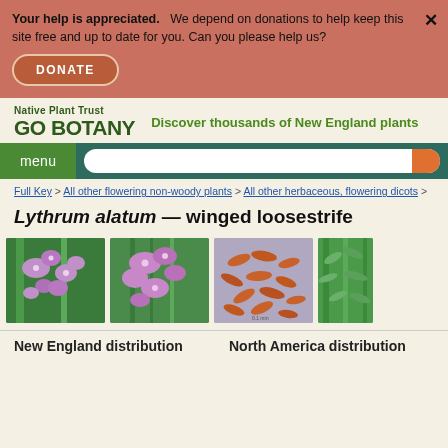Your help is appreciated.   We depend on donations to help keep this site free and up to date for you. Can you please help us?
DONATE
Native Plant Trust GO BOTANY   Discover thousands of New England plants
menu
Full Key > All other flowering non-woody plants > All other herbaceous, flowering dicots >
Lythrum alatum — winged loosestrife
[Figure (photo): Photo of Lythrum alatum showing pink flowers on a green stem in a field]
[Figure (photo): Close-up photo of Lythrum alatum pink flowers with green foliage]
[Figure (photo): Seeds of Lythrum alatum on a purple/lavender background, showing multiple brown elongated seeds]
[Figure (photo): Partial photo of Lythrum alatum leaves, cut off at right edge]
New England distribution
North America distribution